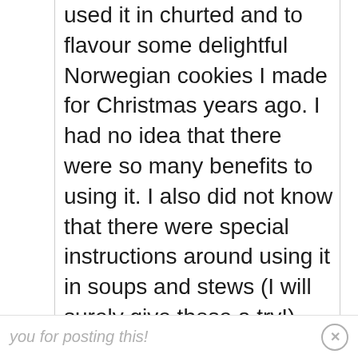used it in churted and to flavour some delightful Norwegian cookies I made for Christmas years ago. I had no idea that there were so many benefits to using it. I also did not know that there were special instructions around using it in soups and stews (I will surely give those a try!)
It is chilly here this Spring and I think some cardamom in my stew is just the ticket! Thank
you for posting this!